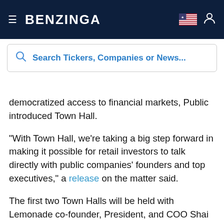BENZINGA
Search Tickers, Companies or News...
democratized access to financial markets, Public introduced Town Hall.
“With Town Hall, we’re taking a big step forward in making it possible for retail investors to talk directly with public companies’ founders and top executives,” a release on the matter said.
The first two Town Halls will be held with Lemonade co-founder, President, and COO Shai Wininger on April 28, 11 a.m. EST, and Bumble founder and CEO Whitney Wolfe Herd on May 17, 11 a.m. EST.
“During scheduled Town Halls, executives will respond